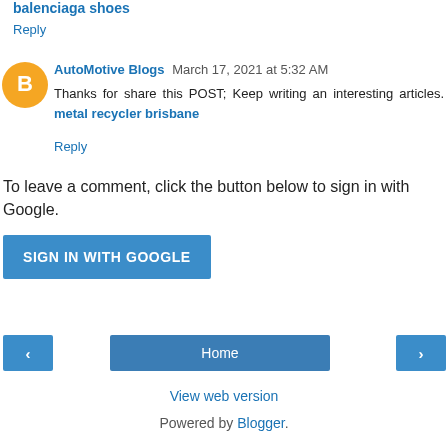balenciaga shoes
Reply
AutoMotive Blogs March 17, 2021 at 5:32 AM
Thanks for share this POST; Keep writing an interesting articles. metal recycler brisbane
Reply
To leave a comment, click the button below to sign in with Google.
SIGN IN WITH GOOGLE
Home
View web version
Powered by Blogger.